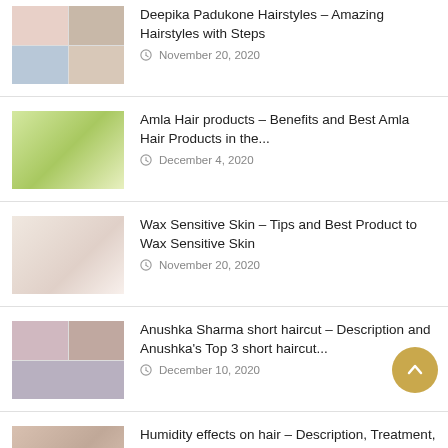[Figure (photo): Thumbnail collage of Deepika Padukone hairstyles]
Deepika Padukone Hairstyles – Amazing Hairstyles with Steps
November 20, 2020
[Figure (photo): Thumbnail of Amla hair products (green bottles)]
Amla Hair products – Benefits and Best Amla Hair Products in the...
December 4, 2020
[Figure (photo): Thumbnail of waxing sensitive skin]
Wax Sensitive Skin – Tips and Best Product to Wax Sensitive Skin
November 20, 2020
[Figure (photo): Thumbnail collage of Anushka Sharma short haircut]
Anushka Sharma short haircut – Description and Anushka's Top 3 short haircut...
December 10, 2020
[Figure (photo): Thumbnail of woman with humidity-affected hair]
Humidity effects on hair – Description, Treatment, and Best Products